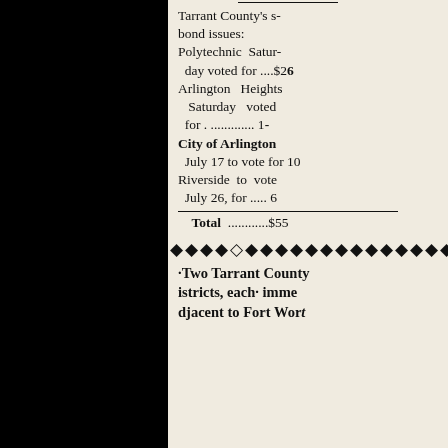Tarrant County's s- bond issues: Polytechnic Saturday voted for ....$26 Arlington Heights Saturday voted for ............. 1- City of Arlington July 17 to vote for 10 Riverside to vote July 26 for ..... 6
Total ............$55
Two Tarrant County istricts, each imme djacent to Fort Wort